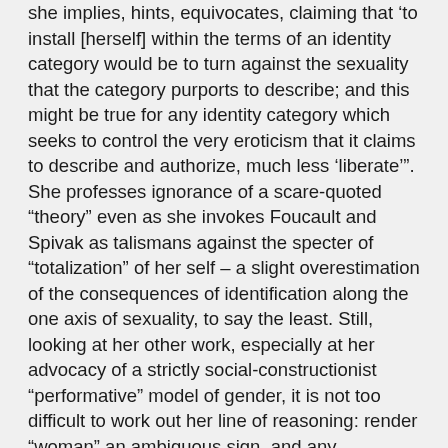she implies, hints, equivocates, claiming that 'to install [herself] within the terms of an identity category would be to turn against the sexuality that the category purports to describe; and this might be true for any identity category which seeks to control the very eroticism that it claims to describe and authorize, much less ‘liberate’”. She professes ignorance of a scare-quoted “theory” even as she invokes Foucault and Spivak as talismans against the specter of “totalization” of her self – a slight overestimation of the consequences of identification along the one axis of sexuality, to say the least. Still, looking at her other work, especially at her advocacy of a strictly social-constructionist “performative” model of gender, it is not too difficult to work out her line of reasoning: render “woman” an ambiguous sign, and any composition involving that sign becomes equally if not more ambiguous